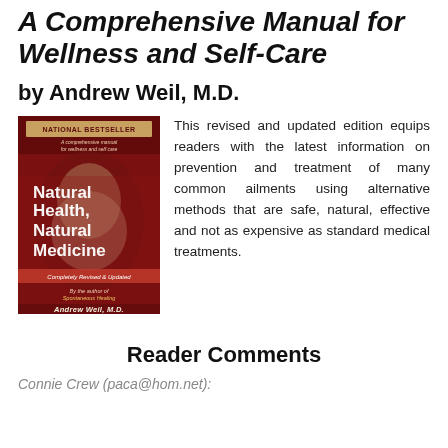A Comprehensive Manual for Wellness and Self-Care
by Andrew Weil, M.D.
[Figure (illustration): Book cover of 'Natural Health, Natural Medicine' by Andrew Weil, M.D. — National Bestseller, Completely Revised & Updated]
This revised and updated edition equips readers with the latest information on prevention and treatment of many common ailments using alternative methods that are safe, natural, effective and not as expensive as standard medical treatments.
Reader Comments
Connie Crew (paca@hom.net):